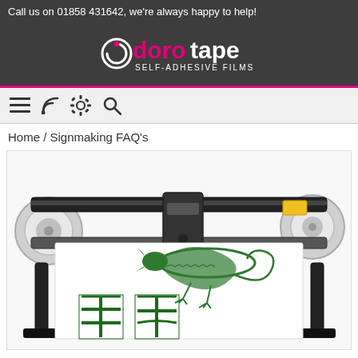Call us on 01858 431642, we're always happy to help!
[Figure (logo): Dorotape logo with pink and white text reading 'dorotape SELF-ADHESIVE FILMS' on dark grey background]
[Figure (screenshot): Navigation bar icons: hamburger menu, RSS feed, settings/gear, search magnifying glass]
Home / Signmaking FAQ's
[Figure (photo): Vinyl cutting plotter machine with white vinyl roll showing a green dragon design and Chinese characters cut into the vinyl]